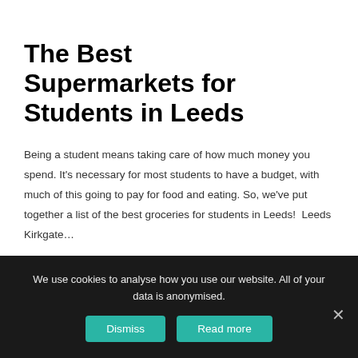The Best Supermarkets for Students in Leeds
Being a student means taking care of how much money you spend. It's necessary for most students to have a budget, with much of this going to pay for food and eating. So, we've put together a list of the best groceries for students in Leeds!  Leeds Kirkgate…
ls6
We use cookies to analyse how you use our website. All of your data is anonymised.